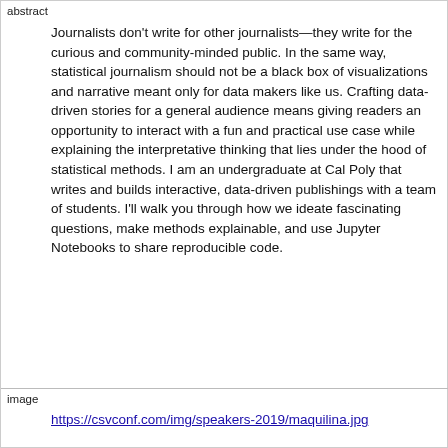abstract
Journalists don't write for other journalists—they write for the curious and community-minded public. In the same way, statistical journalism should not be a black box of visualizations and narrative meant only for data makers like us. Crafting data-driven stories for a general audience means giving readers an opportunity to interact with a fun and practical use case while explaining the interpretative thinking that lies under the hood of statistical methods. I am an undergraduate at Cal Poly that writes and builds interactive, data-driven publishings with a team of students. I'll walk you through how we ideate fascinating questions, make methods explainable, and use Jupyter Notebooks to share reproducible code.
image
https://csvconf.com/img/speakers-2019/maquilina.jpg